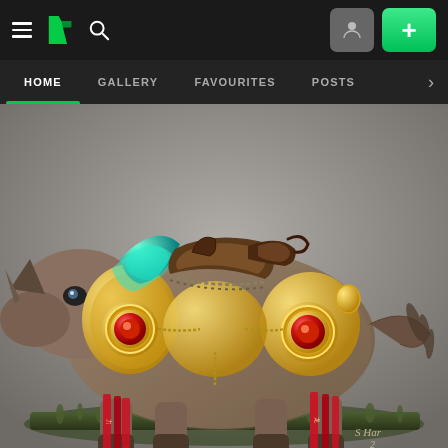[Figure (screenshot): DeviantArt website screenshot showing top navigation bar with hamburger menu, DeviantArt logo, search icon, profile button, and green plus button]
HOME | GALLERY | FAVOURITES | POSTS
[Figure (illustration): Digital fantasy concept art of a rhinoceros-like creature wearing ornate golden armor with red gemstone medallions, teal/turquoise decorative elements, a brown saddle, red hanging banners with Asian script, chains, and fur. Signed by artist in bottom right corner. Background is grey.]